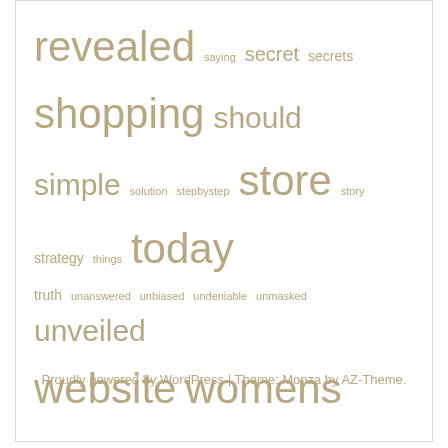revealed saying secret secrets shopping should simple solution stepbystep store story strategy things today truth unanswered unbiased undeniable unmasked unveiled website womens
Proudly powered by WordPress | Theme: Monza by AZ-Theme.